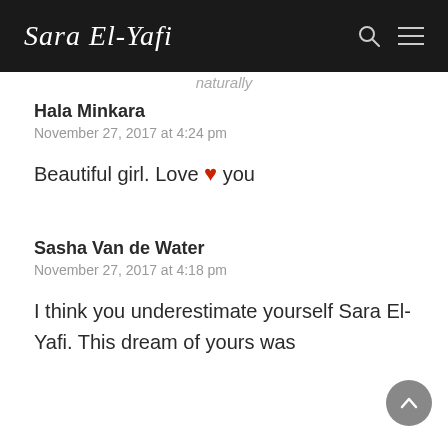Sara El-Yafi (logo header with search and menu icons)
naturally
Hala Minkara
November 27, 2017 at 4:24 pm
Beautiful girl. Love ❤ you
Sasha Van de Water
November 27, 2017 at 4:18 pm
I think you underestimate yourself Sara El-Yafi. This dream of yours was